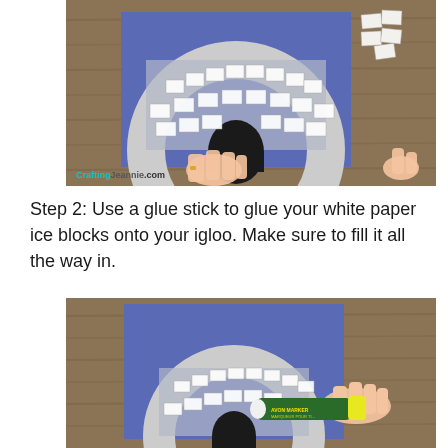[Figure (photo): Top-down view of hands placing white paper ice blocks onto a blue paper igloo craft on a wooden table. Extra paper blocks are visible in the upper right. The watermark 'CraftingJeannie.com' appears in the lower-left corner of the photo.]
Step 2: Use a glue stick to glue your white paper ice blocks onto your igloo. Make sure to fill it all the way in.
[Figure (photo): Top-down view of a hand holding a glue stick (with 'Avon Marker' label visible) applying glue to white paper ice blocks on a blue paper igloo craft on a wooden table.]